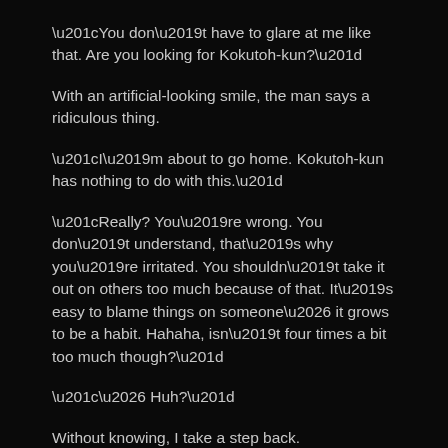“You don’t have to glare at me like that. Are you looking for Kokutoh-kun?”
With an artificial-looking smile, the man says a ridiculous thing.
“I’m about to go home. Kokutoh-kun has nothing to do with this.”
“Really? You’re wrong. You don’t understand, that’s why you’re irritated. You shouldn’t take it out on others too much because of that. It’s easy to blame things on someone… it grows to be a habit. Hahaha, isn’t four times a bit too much though?”
“… Huh?”
Without knowing, I take a step back.
The man has on an artificial smile. A smile just like me, how satisfied-looking and yet…